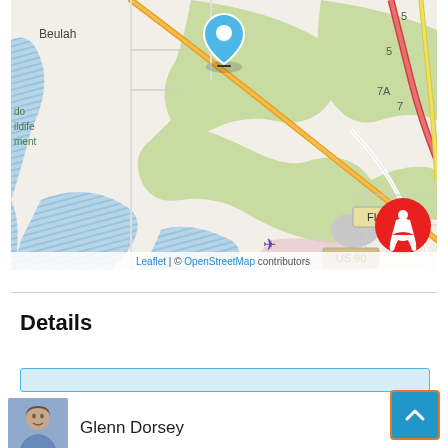[Figure (map): OpenStreetMap showing Beulah area near Pensacola, FL with roads including FL 297, US 90, and a blue location pin marker. Red circular accessibility icon in bottom right. Attribution: Leaflet | © OpenStreetMap contributors.]
Details
Glenn Dorsey